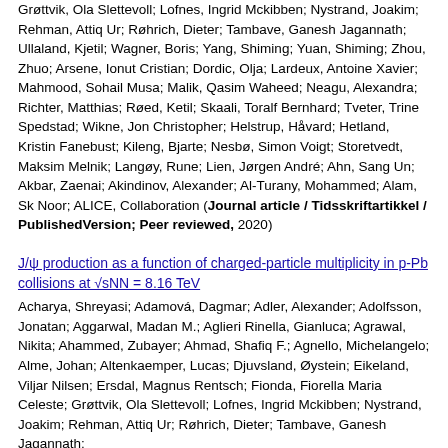Grøttvik, Ola Slettevoll; Lofnes, Ingrid Mckibben; Nystrand, Joakim; Rehman, Attiq Ur; Røhrich, Dieter; Tambave, Ganesh Jagannath; Ullaland, Kjetil; Wagner, Boris; Yang, Shiming; Yuan, Shiming; Zhou, Zhuo; Arsene, Ionut Cristian; Dordic, Olja; Lardeux, Antoine Xavier; Mahmood, Sohail Musa; Malik, Qasim Waheed; Neagu, Alexandra; Richter, Matthias; Røed, Ketil; Skaali, Toralf Bernhard; Tveter, Trine Spedstad; Wikne, Jon Christopher; Helstrup, Håvard; Hetland, Kristin Fanebust; Kileng, Bjarte; Nesbø, Simon Voigt; Storetvedt, Maksim Melnik; Langøy, Rune; Lien, Jørgen André; Ahn, Sang Un; Akbar, Zaenai; Akindinov, Alexander; Al-Turany, Mohammed; Alam, Sk Noor; ALICE, Collaboration (Journal article / Tidsskriftartikkel / PublishedVersion; Peer reviewed, 2020)
J/ψ production as a function of charged-particle multiplicity in p-Pb collisions at √sNN = 8.16 TeV
Acharya, Shreyasi; Adamová, Dagmar; Adler, Alexander; Adolfsson, Jonatan; Aggarwal, Madan M.; Aglieri Rinella, Gianluca; Agrawal, Nikita; Ahammed, Zubayer; Ahmad, Shafiq F.; Agnello, Michelangelo; Alme, Johan; Altenkaemper, Lucas; Djuvsland, Øystein; Eikeland, Viljar Nilsen; Ersdal, Magnus Rentsch; Fionda, Fiorella Maria Celeste; Grøttvik, Ola Slettevoll; Lofnes, Ingrid Mckibben; Nystrand, Joakim; Rehman, Attiq Ur; Røhrich, Dieter; Tambave, Ganesh Jagannath;